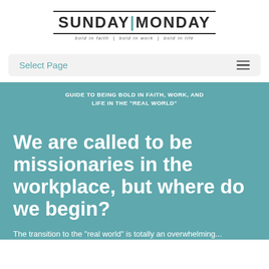[Figure (logo): SUNDAYMONDAY logo with tagline 'bold in faith | bold in work | bold in life']
Select Page
GUIDE TO BEING BOLD IN FAITH, WORK, AND LIFE IN THE "REAL WORLD"
We are called to be missionaries in the workplace, but where do we begin?
The transition to the "real world" is totally an overwhelming...